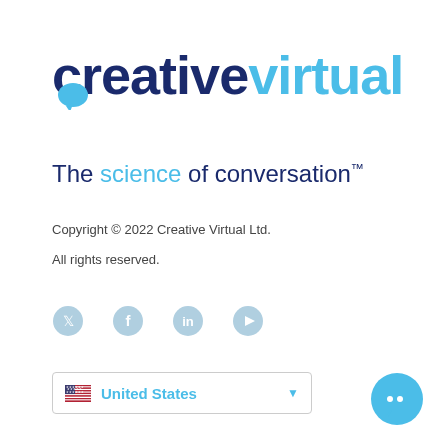[Figure (logo): Creative Virtual logo with speech bubble icon above the 'i' in 'virtual'. Text reads 'creativevirtual' with 'creative' in dark navy blue and 'virtual' in light blue, followed by tagline 'The science of conversation™' where 'science' is in light blue.]
Copyright © 2022 Creative Virtual Ltd.
All rights reserved.
[Figure (infographic): Four social media icons in a row: Twitter, Facebook, LinkedIn, YouTube — all in light blue/grey circular style.]
[Figure (screenshot): Dropdown selector showing United States with US flag icon and a blue triangle dropdown arrow, bordered box.]
[Figure (illustration): Chat bubble icon in solid light blue at bottom right corner of page.]